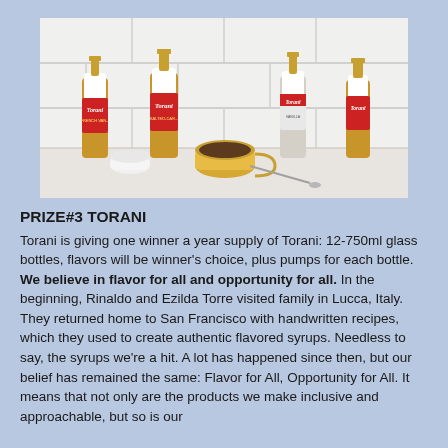[Figure (photo): Several Torani flavored syrup bottles (including French Vanilla and Salted Caramel) arranged on a marble surface next to a yellow coffee cup with a spoon, against a white tile background.]
PRIZE#3 TORANI
Torani is giving one winner a year supply of Torani: 12-750ml glass bottles, flavors will be winner's choice, plus pumps for each bottle. We believe in flavor for all and opportunity for all. In the beginning, Rinaldo and Ezilda Torre visited family in Lucca, Italy. They returned home to San Francisco with handwritten recipes, which they used to create authentic flavored syrups. Needless to say, the syrups we're a hit. A lot has happened since then, but our belief has remained the same: Flavor for All, Opportunity for All. It means that not only are the products we make inclusive and approachable, but so is our